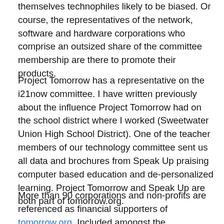themselves technophiles likely to be biased. Or course, the representatives of the network, software and hardware corporations who comprise an outsized share of the committee membership are there to promote their products.
Project Tomorrow has a representative on the i21now committee. I have written previously about the influence Project Tomorrow had on the school district where I worked (Sweetwater Union High School District). One of the teacher members of our technology committee sent us all data and brochures from Speak Up praising computer based education and de-personalized learning. Project Tomorrow and Speak Up are both part of tomorrow.org.
More than 90 corporations and non-profits are referenced as financial supporters of tomorrow.org. Included amongst the contributors are both the American Federation of